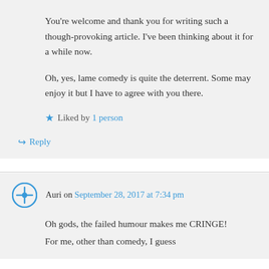You're welcome and thank you for writing such a though-provoking article. I've been thinking about it for a while now.

Oh, yes, lame comedy is quite the deterrent. Some may enjoy it but I have to agree with you there.
★ Liked by 1 person
↪ Reply
Auri on September 28, 2017 at 7:34 pm
Oh gods, the failed humour makes me CRINGE!
For me, other than comedy, I guess